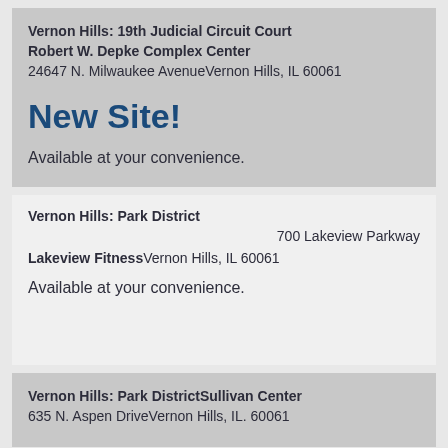Vernon Hills: 19th Judicial Circuit Court Robert W. Depke Complex Center
24647 N. Milwaukee AvenueVernon Hills, IL 60061
New Site!
Available at your convenience.
Vernon Hills: Park District
700 Lakeview Parkway
Lakeview FitnessVernon Hills, IL 60061
Available at your convenience.
Vernon Hills: Park DistrictSullivan Center
635 N. Aspen DriveVernon Hills, IL. 60061